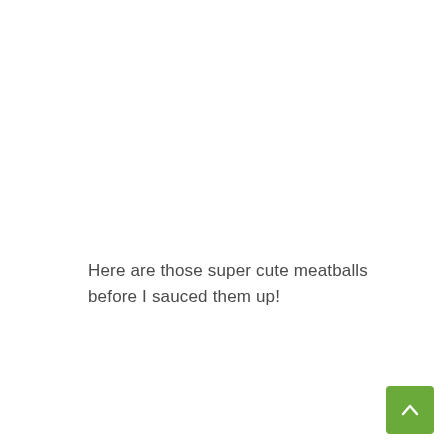Here are those super cute meatballs before I sauced them up!
[Figure (other): Green back-to-top button with upward arrow chevron in the bottom-right corner]